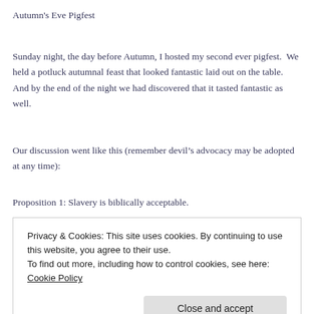Autumn's Eve Pigfest
Sunday night, the day before Autumn, I hosted my second ever pigfest.  We held a potluck autumnal feast that looked fantastic laid out on the table.  And by the end of the night we had discovered that it tasted fantastic as well.
Our discussion went like this (remember devil's advocacy may be adopted at any time):
Proposition 1: Slavery is biblically acceptable.
What is slavery?  What is the slavery in the Bible?  Does the Bible accept
Privacy & Cookies: This site uses cookies. By continuing to use this website, you agree to their use.
To find out more, including how to control cookies, see here: Cookie Policy
utlizes slavery?  In history, has the church been successful in enforcing the